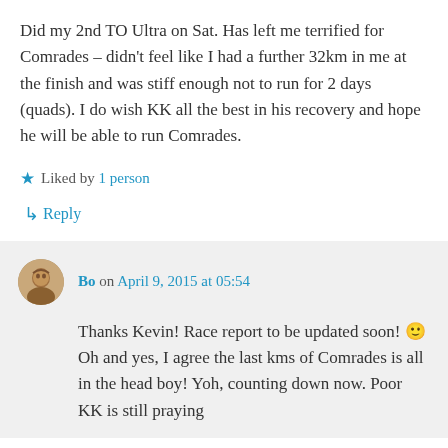Did my 2nd TO Ultra on Sat. Has left me terrified for Comrades – didn't feel like I had a further 32km in me at the finish and was stiff enough not to run for 2 days (quads). I do wish KK all the best in his recovery and hope he will be able to run Comrades.
★ Liked by 1 person
↳ Reply
Bo on April 9, 2015 at 05:54
Thanks Kevin! Race report to be updated soon! 🙂 Oh and yes, I agree the last kms of Comrades is all in the head boy! Yoh, counting down now. Poor KK is still praying